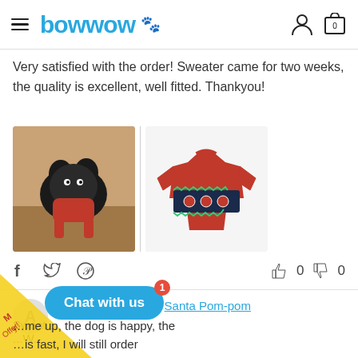bowwow
Very satisfied with the order! Sweater came for two weeks, the quality is excellent, well fitted. Thankyou!
[Figure (photo): Two review photos: left shows a French Bulldog wearing a red Christmas sweater; right shows the red Santa Pom-pom sweater product on a white background.]
f  (twitter icon)  (pinterest icon)   👍 0  👎 0
★★★★★  about Santa Pom-pom Sweat... by ...W.
...me up, the dog is happy, the ...is fast, I will still order